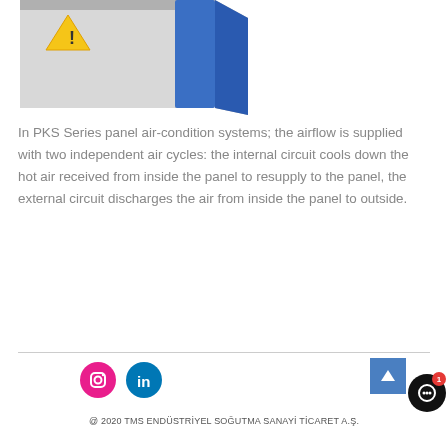[Figure (photo): Partial view of a gray panel air-conditioning unit with blue components visible at top]
In PKS Series panel air-condition systems; the airflow is supplied with two independent air cycles: the internal circuit cools down the hot air received from inside the panel to resupply to the panel, the external circuit discharges the air from inside the panel to outside.
@ 2020 TMS ENDÜSTRİYEL SOĞUTMA SANAYİ TİCARET A.Ş.